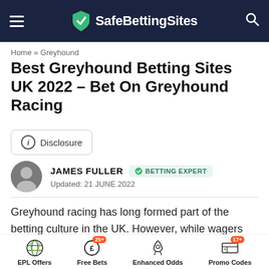SafeBettingSites
Home » Greyhound
Best Greyhound Betting Sites UK 2022 – Bet On Greyhound Racing
Disclosure
JAMES FULLER  BETTING EXPERT  Updated: 21 JUNE 2022
Greyhound racing has long formed part of the betting culture in the UK. However, while wagers were previously placed inside the stadium, greyhound betting sites have changed the way in which punters operate. It is now easier than ever to bet on the dogs involved. In fact, races are
EPL Offers  Free Bets  Enhanced Odds  Promo Codes